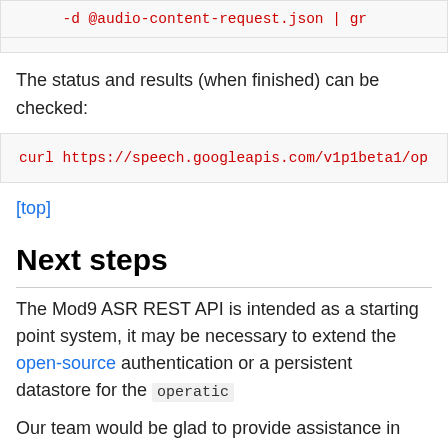-d @audio-content-request.json | gr
The status and results (when finished) can be checked:
curl https://speech.googleapis.com/v1p1beta1/op
[top]
Next steps
The Mod9 ASR REST API is intended as a starting point system, it may be necessary to extend the open-source authentication or a persistent datastore for the operatio
Our team would be glad to provide assistance in any way
Lastly, note that running this REST API via the Docker im well. This addresses a notable deficiency in the Google C